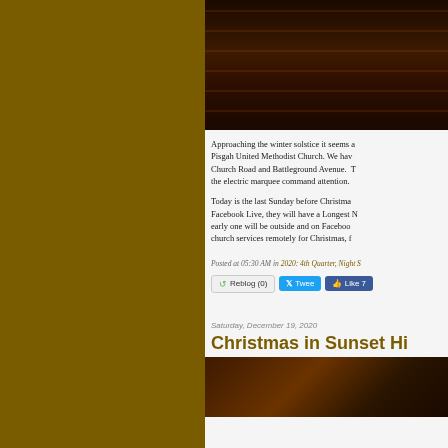[Figure (photo): Dark interior photo of a church, showing wooden pews or furniture in dim reddish-brown lighting]
Approaching the winter solstice it seems a... Pisgah United Methodist Church. We hav... Church Road and Battleground Avenue. T... the electric marquee command attention.
Today is the last Sunday before Christma... Facebook Live, they will have a Longest N... early one will be outside and on Faceboo... church services remotely for Christmas, f...
Posted at 05:30 AM in 2020: 4th Quarter, Night S...
[Figure (screenshot): Social media sharing buttons: Reblog (0), Tweet, Like 7]
Saturday, December 19, 2020
Christmas in Sunset Hi...
[Figure (photo): Bottom portion of a photo, dark warm tones, possibly Christmas lights or candles]